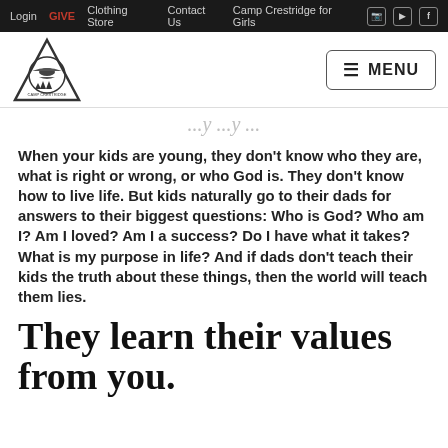Login  GIVE  Clothing Store  Contact Us  Camp Crestridge for Girls
[Figure (logo): Camp Crestridge triangular logo with eagle and trees]
When your kids are young, they don't know who they are, what is right or wrong, or who God is. They don't know how to live life. But kids naturally go to their dads for answers to their biggest questions: Who is God? Who am I? Am I loved? Am I a success? Do I have what it takes? What is my purpose in life? And if dads don't teach their kids the truth about these things, then the world will teach them lies.
They learn their values from you.